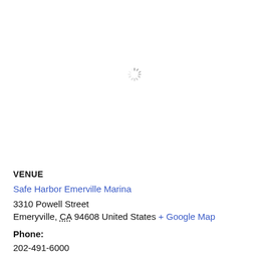[Figure (other): Loading spinner icon (gray radial lines), indicating content is loading]
VENUE
Safe Harbor Emerville Marina
3310 Powell Street
Emeryville, CA 94608 United States + Google Map
Phone:
202-491-6000